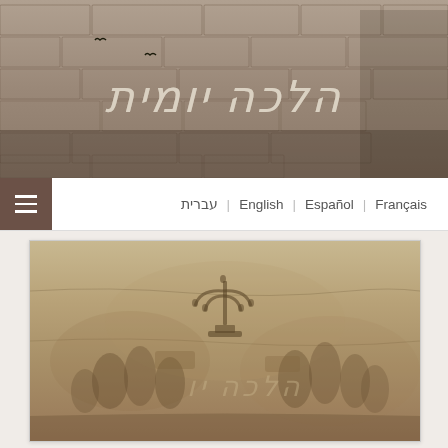[Figure (screenshot): Website header banner with stone/brick wall background, a rabbi figure on the right, and Hebrew text 'הלכה יומית' (Halacha Yomit) in styled script in the center]
עברית | English | Español | Français
[Figure (photo): Stone relief carving depicting the Arch of Titus menorah panel, showing Roman soldiers carrying the Temple menorah and other spoils, with Hebrew watermark overlay]
When Av Begins, We Diminish Our Joy
This coming Friday will mark Rosh Chodesh Av. Next Shabbat will mark Tisha Be'av, however, since fast days are prohibited on Shabbat (besides for